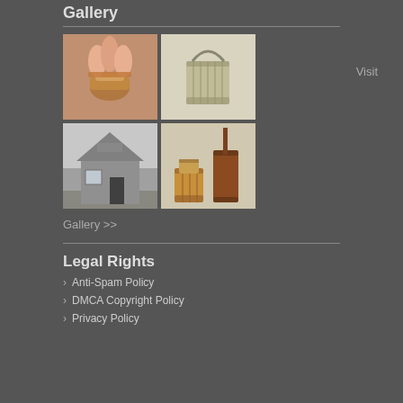Gallery
[Figure (photo): Four gallery thumbnail images: top-left shows fingers holding a small copper/bronze ring, top-right shows a wooden bucket with handle, bottom-left shows a gray wooden building exterior, bottom-right shows wooden barrel and churn items]
Visit
Gallery >>
Legal Rights
Anti-Spam Policy
DMCA Copyright Policy
Privacy Policy